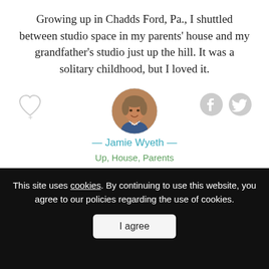Growing up in Chadds Ford, Pa., I shuttled between studio space in my parents' house and my grandfather's studio just up the hill. It was a solitary childhood, but I loved it.
[Figure (photo): Circular avatar portrait of Jamie Wyeth, a middle-aged man with grey/brown hair, wearing a blue jacket]
— Jamie Wyeth —
Up, House, Parents
Prince Felipe is the best ambassador for Spain: I
This site uses cookies. By continuing to use this website, you agree to our policies regarding the use of cookies.